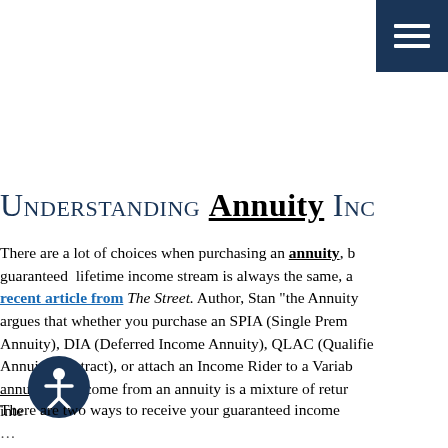[Figure (other): Navigation hamburger menu button — dark navy blue square with three white horizontal bars]
Understanding Annuity Inc...
There are a lot of choices when purchasing an annuity, but the guaranteed lifetime income stream is always the same, a recent article from The Street. Author, Stan "the Annuity Man" argues that whether you purchase an SPIA (Single Premium Immediate Annuity), DIA (Deferred Income Annuity), QLAC (Qualified Longevity Annuity Contract), or attach an Income Rider to a Variable annuity, all income from an annuity is a mixture of return of principal and inte...
There are two ways to receive your guaranteed income...